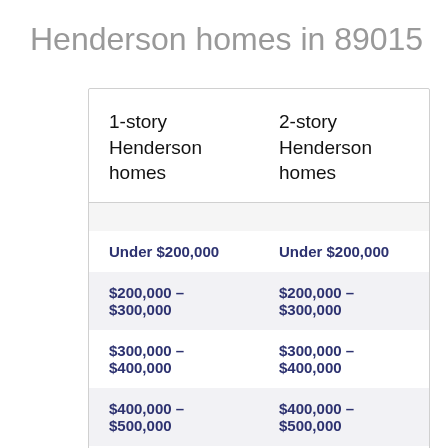Henderson homes in 89015
| 1-story Henderson homes | 2-story Henderson homes |
| --- | --- |
| Under $200,000 | Under $200,000 |
| $200,000 – $300,000 | $200,000 – $300,000 |
| $300,000 – $400,000 | $300,000 – $400,000 |
| $400,000 – $500,000 | $400,000 – $500,000 |
| $500,000 – $750,000 | $500,000 – $750,000 |
| $750,000 – | $750,000 – |